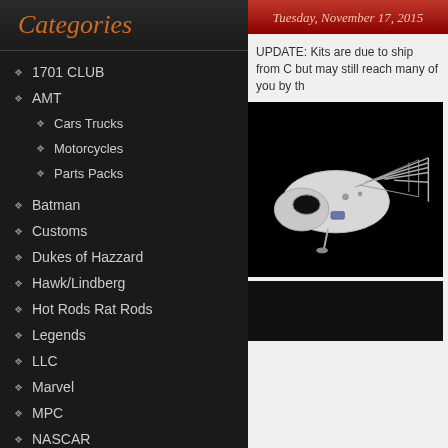Categories
1701 CLUB
AMT
Cars Trucks
Motorcycles
Parts Packs
Batman
Customs
Dukes of Hazzard
Hawk/Lindberg
Hot Rods Rat Rods
Legends
LLC
Marvel
MPC
NASCAR
NHRA
Tuesday, November 17, 2015
UPDATE: Kits are due to ship from C but may still reach many of you by th
[Figure (photo): White spacecraft/shuttle model on black background, showing angular structure and truss framework]